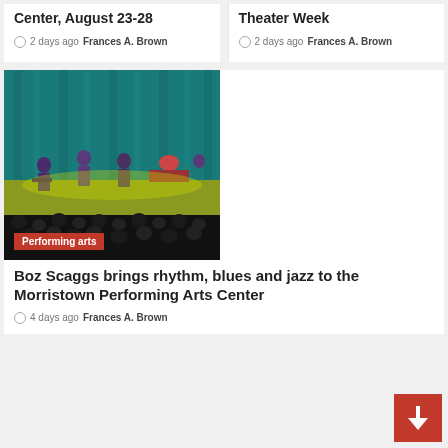Center, August 23-28
2 days ago  Frances A. Brown
Theater Week
2 days ago  Frances A. Brown
[Figure (photo): A band performing on stage with a teal curtain backdrop, audience silhouettes in foreground. Tag: Performing arts]
Boz Scaggs brings rhythm, blues and jazz to the Morristown Performing Arts Center
4 days ago  Frances A. Brown